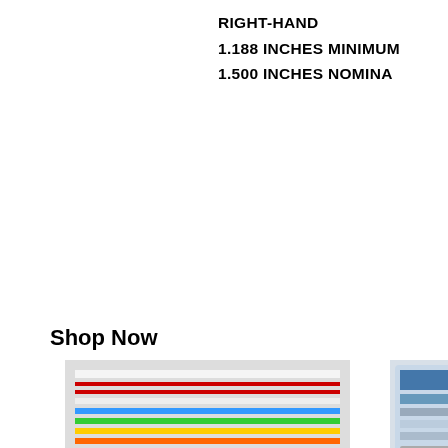RIGHT-HAND
1.188 INCHES MINIMUM
1.500 INCHES NOMINA
Shop Now
[Figure (photo): REXQualis Electronics Component Fun Kit product image - breadboard kit with components]
REXQualis Electronics Component Fun Kit ...
$16.99  $22.99  prime  (1767)
[Figure (photo): MOGAOPI Electronic Component Kit & Tota... product image - component kit in plastic case]
MOGAOPI Electronic Component Kit & Tota...
$25.99  prime  (177)
[Figure (photo): Bottom left product thumbnail - electronics kit]
[Figure (photo): Bottom right product thumbnail - electronics component set]